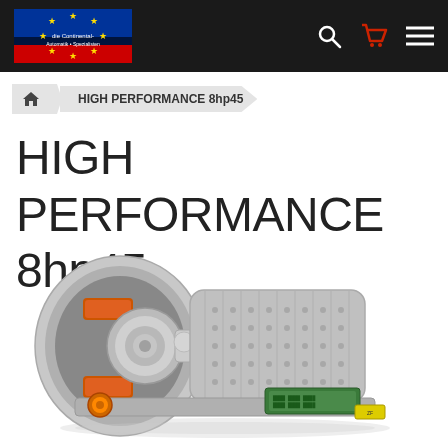Navigation bar with EU/Germany flag logo, search icon, cart icon, menu icon
HIGH PERFORMANCE 8hp45
HIGH PERFORMANCE 8hp45
[Figure (photo): Cutaway photograph of an 8hp45 high-performance automotive automatic transmission, showing internal gearbox components including torque converter, planetary gear sets, clutch packs (orange), and control module (green PCB), all in chrome/silver metallic finish with orange connector visible.]